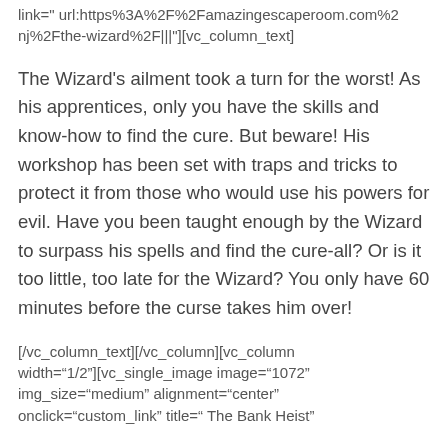link="url:https%3A%2F%2Famazingescaperoom.com%2Fnj%2Fthe-wizard%2F|||" ][vc_column_text]
The Wizard's ailment took a turn for the worst! As his apprentices, only you have the skills and know-how to find the cure. But beware! His workshop has been set with traps and tricks to protect it from those who would use his powers for evil. Have you been taught enough by the Wizard to surpass his spells and find the cure-all? Or is it too little, too late for the Wizard? You only have 60 minutes before the curse takes him over!
[/vc_column_text][/vc_column][vc_column width="1/2"][vc_single_image image="1072" img_size="medium" alignment="center" onclick="custom_link" title=" The Bank Heist"